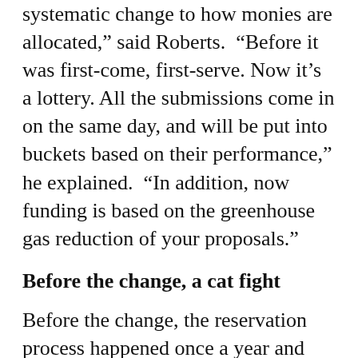systematic change to how monies are allocated,” said Roberts. “Before it was first-come, first-serve. Now it’s a lottery. All the submissions come in on the same day, and will be put into buckets based on their performance,” he explained. “In addition, now funding is based on the greenhouse gas reduction of your proposals.”
Before the change, a cat fight
Before the change, the reservation process happened once a year and everyone was on their computer to obtain a reservation, which was a “cat fight,” said John Sarter, CEO and founder of developer Off the Grid Design, whose nanogrid project